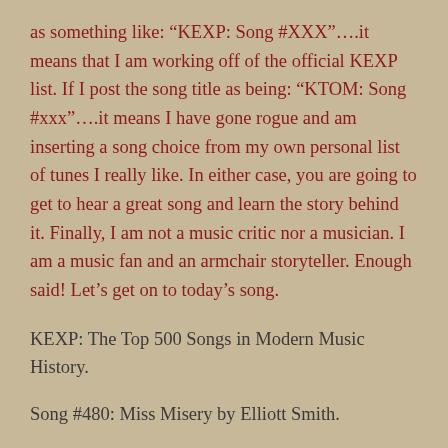as something like: “KEXP: Song #XXX”….it means that I am working off of the official KEXP list. If I post the song title as being: “KTOM: Song #xxx”….it means I have gone rogue and am inserting a song choice from my own personal list of tunes I really like. In either case, you are going to get to hear a great song and learn the story behind it. Finally, I am not a music critic nor a musician. I am a music fan and an armchair storyteller. Enough said! Let’s get on to today’s song.
KEXP: The Top 500 Songs in Modern Music History.
Song #480: Miss Misery by Elliott Smith.
Despite all of the accolades bestowed upon the artists scattered throughout this song list, few can match what Elliott Smith...Miss Misery”